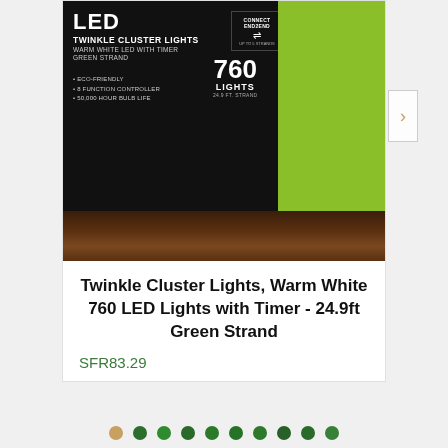[Figure (photo): Product listing screenshot showing LED Twinkle Cluster Lights box on a wooden surface. The box is black with white text showing 'LED TWINKLE CLUSTER LIGHTS', 'WARM WHITE LED WITH TIMER GREEN STRAND', bullet points for eco-friendly, 8 function controller, 50,000 hour bulb life, and '760 LIGHTS'. A green panel on the right shows a branch with lights. A Connect End2End badge is visible. A navigation arrow is on the right side.]
Twinkle Cluster Lights, Warm White 760 LED Lights with Timer - 24.9ft Green Strand
SFR83.29